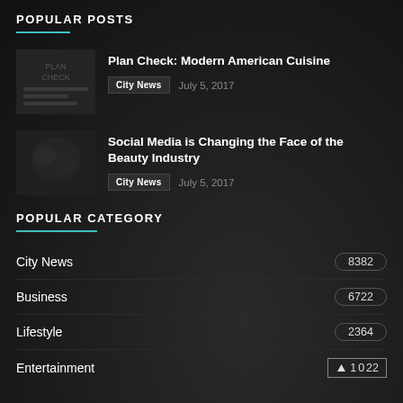POPULAR POSTS
Plan Check: Modern American Cuisine | City News | July 5, 2017
Social Media is Changing the Face of the Beauty Industry | City News | July 5, 2017
POPULAR CATEGORY
City News | 8382
Business | 6722
Lifestyle | 2364
Entertainment | 1022